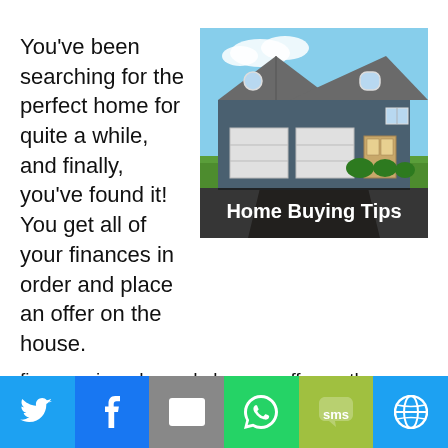You've been searching for the perfect home for quite a while, and finally, you've found it! You get all of your finances in order and place an offer on the house.
[Figure (photo): Photo of a large two-story dark gray house with two-car garage and green lawn, with overlay banner text reading 'Home Buying Tips']
However, you're not the only one that loves the home, because there are multiple offers — and one of them is cash.